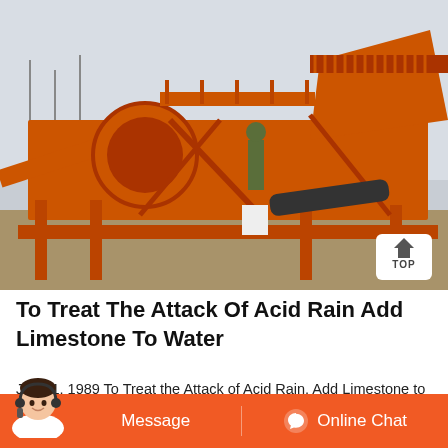[Figure (photo): Large orange industrial sand washing / screening machine with conveyors, hoppers, and structural frame, photographed outdoors in foggy conditions. A worker in green is visible near the machine. A white 'TOP' badge with house icon is in the bottom-right corner of the image.]
To Treat The Attack Of Acid Rain Add Limestone To Water
Jan 31, 1989 To Treat the Attack of Acid Rain, Add Limestone to Water and Wait ... even proponents of the treatment method say. ... now offers a
[Figure (photo): Customer service representative avatar (woman with headset) in bottom-left corner of the page, overlapping the orange bottom bar.]
Message
Online Chat